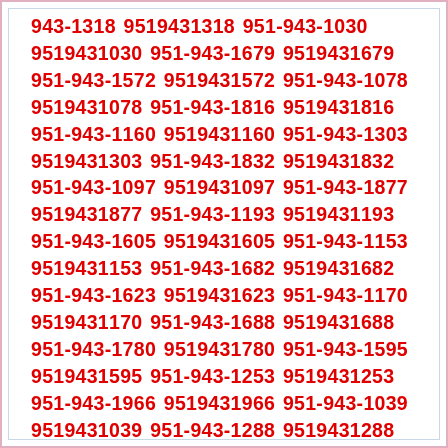943-1318 9519431318 951-943-1030 9519431030 951-943-1679 9519431679 951-943-1572 9519431572 951-943-1078 9519431078 951-943-1816 9519431816 951-943-1160 9519431160 951-943-1303 9519431303 951-943-1832 9519431832 951-943-1097 9519431097 951-943-1877 9519431877 951-943-1193 9519431193 951-943-1605 9519431605 951-943-1153 9519431153 951-943-1682 9519431682 951-943-1623 9519431623 951-943-1170 9519431170 951-943-1688 9519431688 951-943-1780 9519431780 951-943-1595 9519431595 951-943-1253 9519431253 951-943-1966 9519431966 951-943-1039 9519431039 951-943-1288 9519431288 951-943-1995 9519431995 951-943-1053 9519431053 951-943-1093 9519431093 951-943-1891 9519431891 951-943-1901 9519431901 951-943-1339 9519431339 951-943-1833 9519431833 951-943-1196 9519431196 951-943-1074 9519431074 951-943-1857 9519431857 951-943-1876